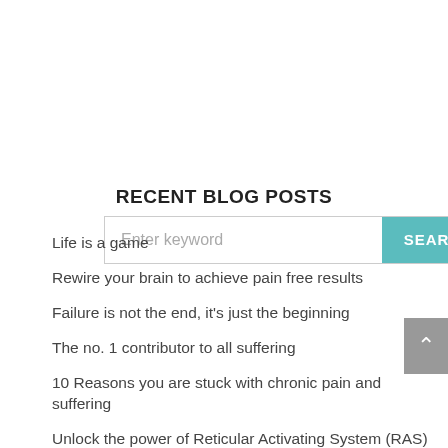[Figure (other): Search bar with text input field showing 'Enter keyword' placeholder and a teal SEARCH button]
RECENT BLOG POSTS
Life is a game
Rewire your brain to achieve pain free results
Failure is not the end, it's just the beginning
The no. 1 contributor to all suffering
10 Reasons you are stuck with chronic pain and suffering
Unlock the power of Reticular Activating System (RAS)
Heal yourself: 2 Powerful tools to help
Why Do I Keep Getting Sick?
Pain is your body communicating to you | Dealing